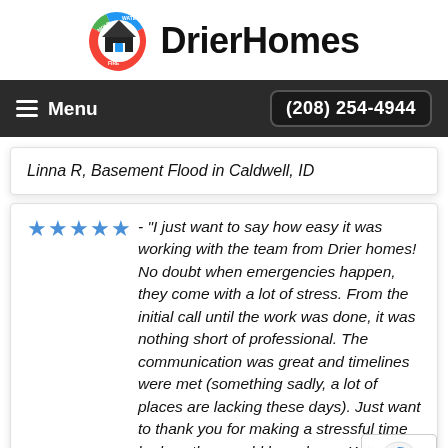[Figure (logo): DrierHomes company logo with circular icon showing mold, water, fire restoration services and house icon]
DrierHomes
Menu  (208) 254-4944
Linna R, Basement Flood in Caldwell, ID
★★★★★ - "I just want to say how easy it was working with the team from Drier homes! No doubt when emergencies happen, they come with a lot of stress. From the initial call until the work was done, it was nothing short of professional. The communication was great and timelines were met (something sadly, a lot of places are lacking these days). Just want to thank you for making a stressful time be less than could have been. Will definitely recommend Drier